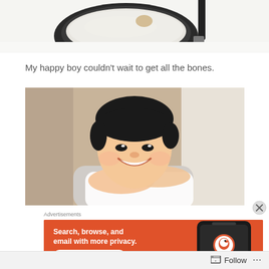[Figure (photo): Top portion of a photo showing a dark bowl with flour/white powder and a spatula/tool on a white surface, partially cropped]
My happy boy couldn't wait to get all the bones.
[Figure (photo): A smiling young Asian toddler boy with dark hair, arms crossed, leaning against a wall, wearing a white shirt]
Advertisements
[Figure (screenshot): DuckDuckGo advertisement banner with orange background showing text 'Search, browse, and email with more privacy. All in One Free App' with a phone graphic showing the DuckDuckGo logo]
Follow ...